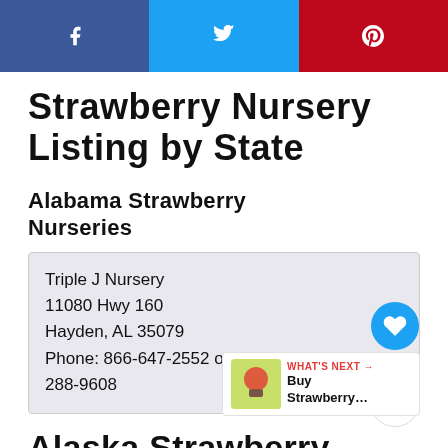[Figure (infographic): Social sharing bar with Facebook (blue), Twitter (light blue), and Pinterest (red) buttons]
Strawberry Nursery Listing by State
Alabama Strawberry Nurseries
Triple J Nursery
11080 Hwy 160
Hayden, AL 35079
Phone: 866-647-2552 or 205-647-2552 or 205-288-9608
Alaska Strawberry